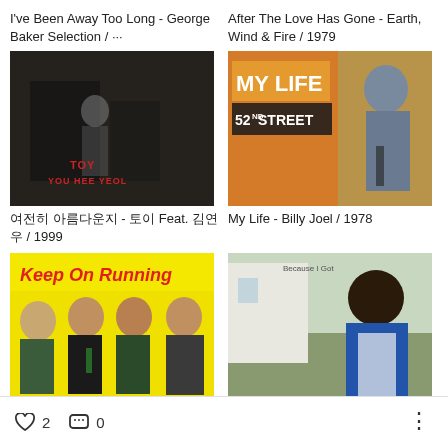I've Been Away Too Long - George Baker Selection / ···
[Figure (photo): Album cover for Toy (You Hee Yeol) - black and white photo of a person standing in a room]
여전히 아름다운지 - 토이 Feat. 김연우 / 1999
After The Love Has Gone - Earth, Wind & Fire / 1979
[Figure (photo): Album cover for Billy Joel My Life / 52nd Street - man holding a saxophone]
My Life - Billy Joel / 1978
[Figure (photo): Album cover Keep On Running - band of four young men on yellow background]
[Figure (photo): Album cover Because I Got - man in blue jacket outdoors]